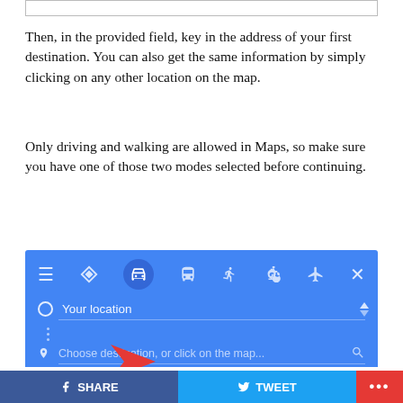[Figure (screenshot): Top partial screenshot of a Google Maps-like input bar (cropped, showing border at top of page)]
Then, in the provided field, key in the address of your first destination. You can also get the same information by simply clicking on any other location on the map.
Only driving and walking are allowed in Maps, so make sure you have one of those two modes selected before continuing.
[Figure (screenshot): Screenshot of Google Maps directions UI showing transportation mode icons (car selected/highlighted), 'Your location' field, 'Choose destination, or click on the map...' search field with a red arrow pointing to it, and a 'Your location' row at the bottom.]
SHARE   TWEET   ...